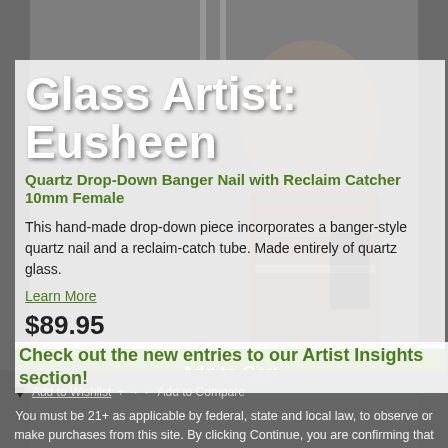[Figure (photo): Background photo of a smiling man in a striped shirt holding equipment, inside a retail store. The image is semi-transparent overlaid with a product card.]
Glass Artist: Eusheen
Quartz Drop-Down Banger Nail with Reclaim Catcher 10mm Female
This hand-made drop-down piece incorporates a banger-style quartz nail and a reclaim-catch tube. Made entirely of quartz glass.
Learn More
$89.95
Add to Cart
Check out the new entries to our Artist Insights section!
Add to Wishlist + → ← Add to Compare
You must be 21+ as applicable by federal, state and local law, to observe or make purchases from this site. By clicking Continue, you are confirming that your age complies with the respective age set by the laws where you reside.